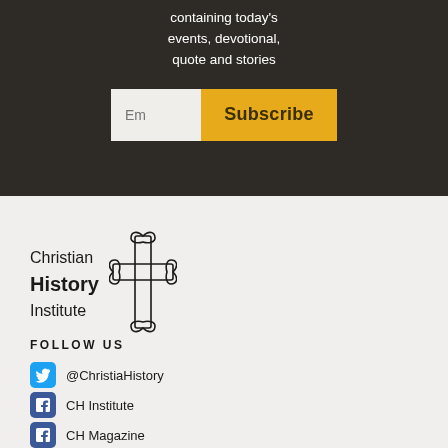containing today's events, devotional, quote and stories
Em  Subscribe
[Figure (logo): Christian History Institute logo with ornate cross]
FOLLOW US
@ChristiaHistory
CH Institute
CH Magazine
Torchlighters
@christianhistorymagazine